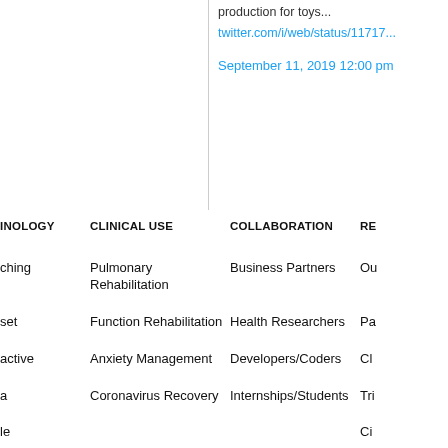production for toys...
twitter.com/i/web/status/11717...
September 11, 2019 12:00 pm
| INOLOGY | CLINICAL USE | COLLABORATION | RE |
| --- | --- | --- | --- |
| ching | Pulmonary Rehabilitation | Business Partners | Ou |
| set | Function Rehabilitation | Health Researchers | Pa |
| active | Anxiety Management | Developers/Coders | Cl |
| a | Coronavirus Recovery | Internships/Students | Tri |
| le |  |  | Ci |
| ulation |  |  | Li |